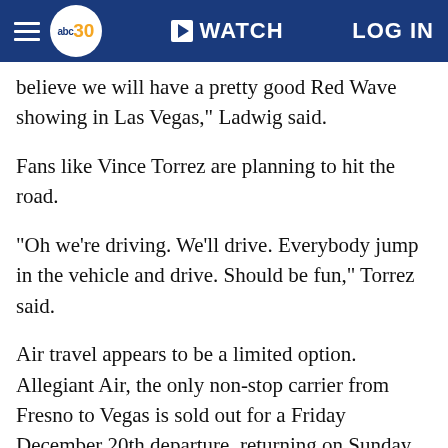abc30 WATCH LOG IN
believe we will have a pretty good Red Wave showing in Las Vegas," Ladwig said.
Fans like Vince Torrez are planning to hit the road.
"Oh we're driving. We'll drive. Everybody jump in the vehicle and drive. Should be fun," Torrez said.
Air travel appears to be a limited option. Allegiant Air, the only non-stop carrier from Fresno to Vegas is sold out for a Friday December 20th departure, returning on Sunday.
As of Monday afternoon Allegiant Air had a few tickets for travelers willing to leave Thursday and come back Monday. (The Las Vegas bowl will be played Saturday the 21st, at Sam Boyd Stadium.) Other airlines offered flights with stops in LA or Phoenix for a lot more money, with long layovers